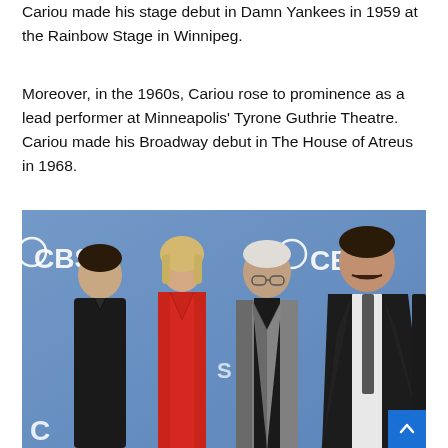Cariou made his stage debut in Damn Yankees in 1959 at the Rainbow Stage in Winnipeg.
Moreover, in the 1960s, Cariou rose to prominence as a lead performer at Minneapolis' Tyrone Guthrie Theatre. Cariou made his Broadway debut in The House of Atreus in 1968.
[Figure (photo): Four people posing in front of a blue CBS network backdrop. From left: a young man in a black outfit, a blonde woman in a red dress, an older man in a grey blazer and black shirt, and a tall man with a mustache in a dark suit with tie.]